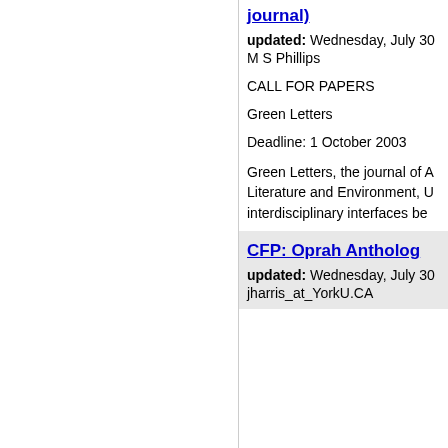journal)
updated: Wednesday, July 30
M S Phillips
CALL FOR PAPERS
Green Letters
Deadline: 1 October 2003
Green Letters, the journal of A Literature and Environment, U interdisciplinary interfaces be
CFP: Oprah Antholog
updated: Wednesday, July 30
jharris_at_YorkU.CA